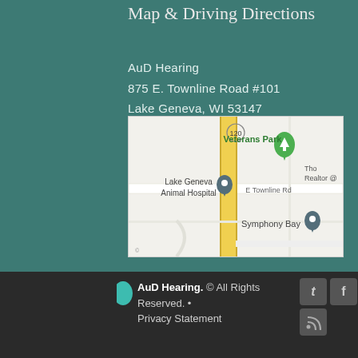Map & Driving Directions
AuD Hearing
875 E. Townline Road #101
Lake Geneva, WI 53147
[Figure (map): Google Maps screenshot showing the area around 875 E. Townline Road, Lake Geneva, WI 53147. Landmarks include Veterans Park, Lake Geneva Animal Hospital, Symphony Bay, and Tho Realtor. A yellow highway 120 runs vertically through the center.]
AuD Hearing. © All Rights Reserved. • Privacy Statement